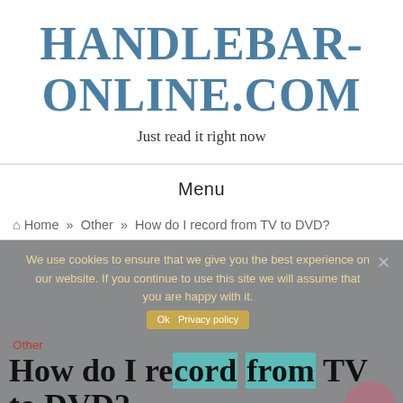HANDLEBAR-ONLINE.COM
Just read it right now
Menu
🏠 Home » Other » How do I record from TV to DVD?
We use cookies to ensure that we give you the best experience on our website. If you continue to use this site we will assume that you are happy with it.
Other
How do I record from TV to DVD?